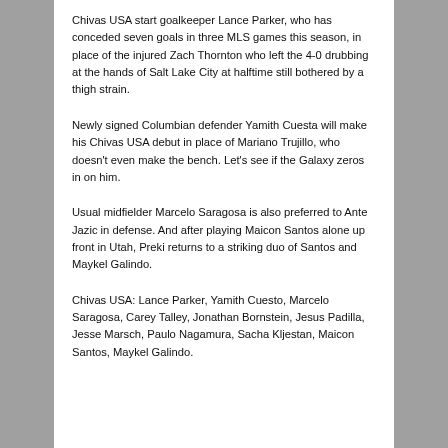Chivas USA start goalkeeper Lance Parker, who has conceded seven goals in three MLS games this season, in place of the injured Zach Thornton who left the 4-0 drubbing at the hands of Salt Lake City at halftime still bothered by a thigh strain.
Newly signed Columbian defender Yamith Cuesta will make his Chivas USA debut in place of Mariano Trujillo, who doesn't even make the bench. Let's see if the Galaxy zeros in on him.
Usual midfielder Marcelo Saragosa is also preferred to Ante Jazic in defense. And after playing Maicon Santos alone up front in Utah, Preki returns to a striking duo of Santos and Maykel Galindo.
Chivas USA: Lance Parker, Yamith Cuesto, Marcelo Saragosa, Carey Talley, Jonathan Bornstein, Jesus Padilla, Jesse Marsch, Paulo Nagamura, Sacha Kljestan, Maicon Santos, Maykel Galindo.